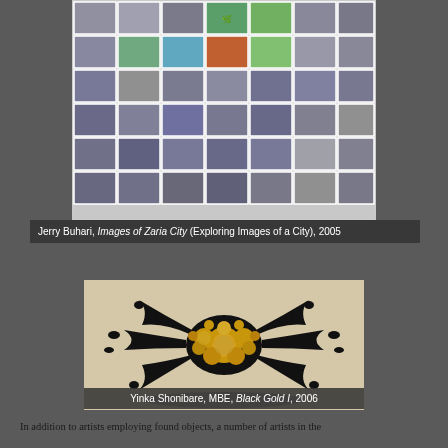[Figure (photo): Grid of small monochromatic ink/watercolor paintings arranged in rows and columns on white paper, with a few colorful landscape images in the upper rows. Artwork by Jerry Buhari titled 'Images of Zaria City'.]
Jerry Buhari, Images of Zaria City (Exploring Images of a City), 2005
[Figure (photo): Art piece showing a black ink splash/explosion pattern on a light background with gold and patterned circular discs clustered in the center. Artwork by Yinka Shonibare, MBE titled 'Black Gold I', 2006.]
Yinka Shonibare, MBE, Black Gold I, 2006
In addition to artists employing found objects, a number of artists in the